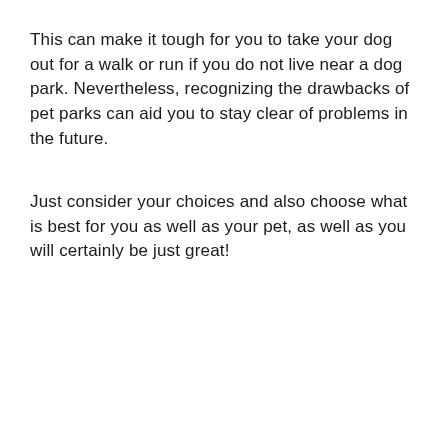This can make it tough for you to take your dog out for a walk or run if you do not live near a dog park. Nevertheless, recognizing the drawbacks of pet parks can aid you to stay clear of problems in the future.
Just consider your choices and also choose what is best for you as well as your pet, as well as you will certainly be just great!